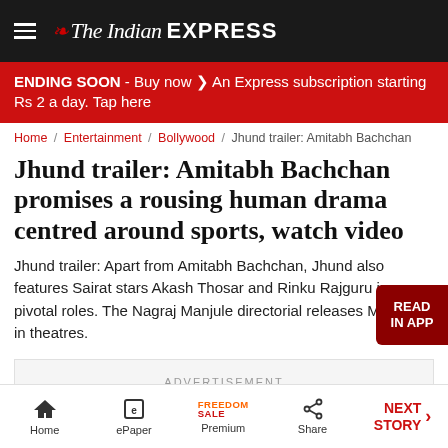The Indian EXPRESS
ENDING SOON - Buy now ❯ An Express subscription starting Rs 2 a day. Tap here
Home / Entertainment / Bollywood / Jhund trailer: Amitabh Bachchan
Jhund trailer: Amitabh Bachchan promises a rousing human drama centred around sports, watch video
Jhund trailer: Apart from Amitabh Bachchan, Jhund also features Sairat stars Akash Thosar and Rinku Rajguru in pivotal roles. The Nagraj Manjule directorial releases March 4 in theatres.
ADVERTISEMENT
Home   ePaper   Premium   Share   NEXT STORY